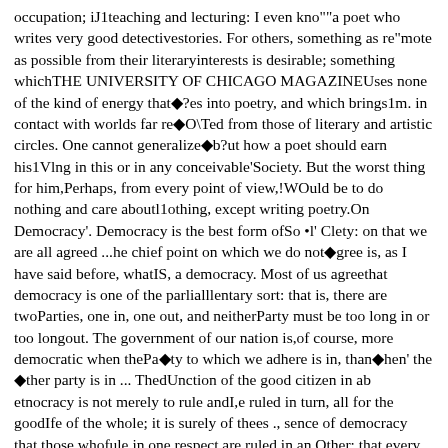occupation; iJ1teaching and lecturing: I even kno""a poet who writes very good detectivestories. For others, something as re"mote as possible from their literaryinterests is desirable; something whichTHE UNIVERSITY OF CHICAGO MAGAZINEUses none of the kind of energy that◆?es into poetry, and which brings1m. in contact with worlds far re◆O\Ted from those of literary and artistic circles. One cannot generalize◆b?ut how a poet should earn his1Vlng in this or in any conceivable'Society. But the worst thing for him,Perhaps, from every point of view,!WOuld be to do nothing and care aboutl1othing, except writing poetry.On Democracy'. Democracy is the best form ofSo •l' Clety: on that we are all agreed ...he chief point on which we do not◆gree is, as I have said before, whatIS, a democracy. Most of us agreethat democracy is one of the parlialllentary sort: that is, there are twoParties, one in, one out, and neitherParty must be too long in or too longout. The government of our nation is,of course, more democratic when thePa◆ty to which we adhere is in, than◆hen' the ◆ther party is in ... ThedUnction of the good citizen in ab etnocracy is not merely to rule andI,e ruled in turn, all for the goodIfe of the whole; it is surely of thees ., sence of democracy that those whofule in one respect are ruled in an,Other; that every man is both ruleral1d ruled, To be wholly ruler, to be◆holly ruled, is to lose humanity; and,◆ll fact, the humblest worker needso keep his own offspring in order,,◆hiIe the most powerful despot maybe dominated, if by no other persons,1 wife, or mistress, or friends he